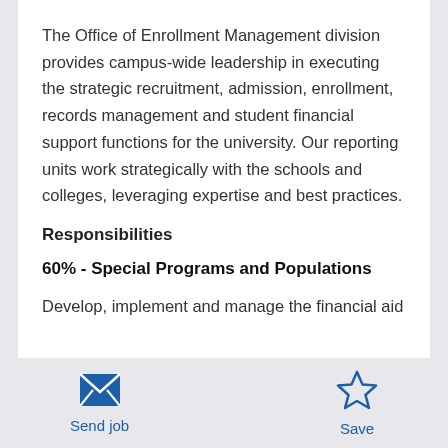The Office of Enrollment Management division provides campus-wide leadership in executing the strategic recruitment, admission, enrollment, records management and student financial support functions for the university. Our reporting units work strategically with the schools and colleges, leveraging expertise and best practices.
Responsibilities
60% - Special Programs and Populations
Develop, implement and manage the financial aid
[Figure (illustration): Blue envelope icon for Send job action]
Send job
[Figure (illustration): Blue star outline icon for Save action]
Save